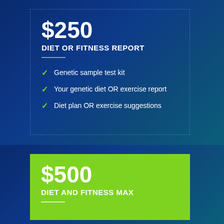$250
DIET OR FITNESS REPORT
Genetic sample test kit
Your genetic diet OR exercise report
Diet plan OR exercise suggestions
$500
DIET AND FITNESS MAX